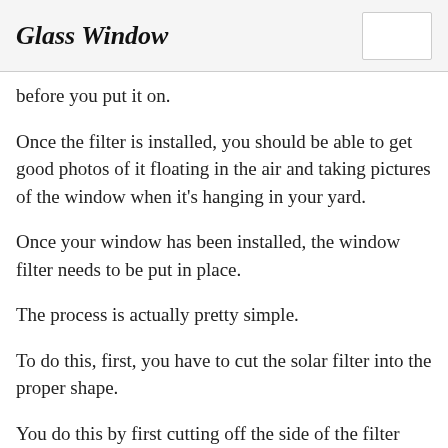Glass Window
before you put it on.
Once the filter is installed, you should be able to get good photos of it floating in the air and taking pictures of the window when it's hanging in your yard.
Once your window has been installed, the window filter needs to be put in place.
The process is actually pretty simple.
To do this, first, you have to cut the solar filter into the proper shape.
You do this by first cutting off the side of the filter that covers the glass so that it doesn't block any sunlight.